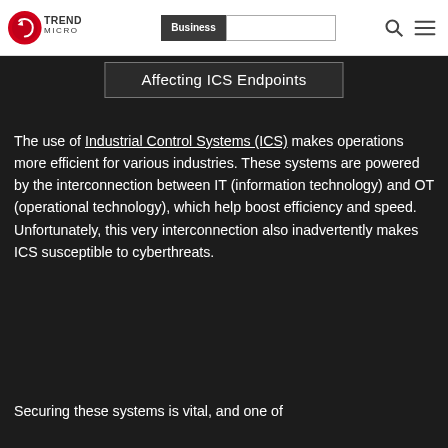Trend Micro | Business [search bar] [search icon] [menu icon]
Affecting ICS Endpoints
The use of Industrial Control Systems (ICS) makes operations more efficient for various industries. These systems are powered by the interconnection between IT (information technology) and OT (operational technology), which help boost efficiency and speed. Unfortunately, this very interconnection also inadvertently makes ICS susceptible to cyberthreats.
Securing these systems is vital, and one of